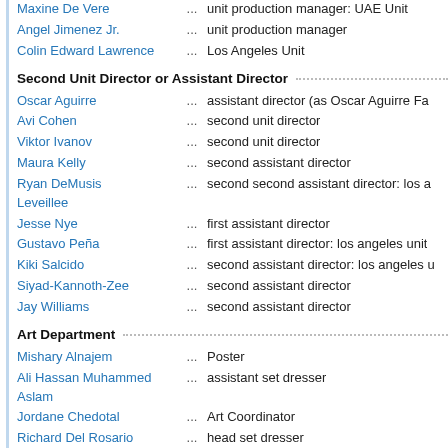Maxine De Vere ... unit production manager: UAE Unit
Angel Jimenez Jr. ... unit production manager
Colin Edward Lawrence ... Los Angeles Unit
Second Unit Director or Assistant Director
Oscar Aguirre ... assistant director (as Oscar Aguirre Fa...)
Avi Cohen ... second unit director
Viktor Ivanov ... second unit director
Maura Kelly ... second assistant director
Ryan DeMusis Leveillee ... second second assistant director: los a...
Jesse Nye ... first assistant director
Gustavo Peña ... first assistant director: los angeles unit
Kiki Salcido ... second assistant director: los angeles u...
Siyad-Kannoth-Zee ... second assistant director
Jay Williams ... second assistant director
Art Department
Mishary Alnajem ... Poster
Ali Hassan Muhammed Aslam ... assistant set dresser
Jordane Chedotal ... Art Coordinator
Richard Del Rosario ... head set dresser